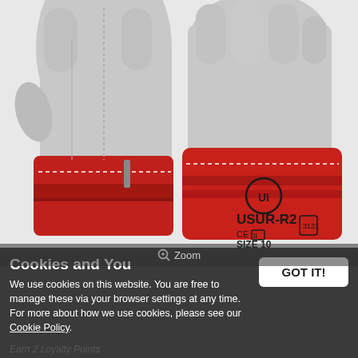[Figure (photo): Product photo of red and grey leather work gloves (USUR-R2, Size 10) showing the cuff area with CE certification markings and logo on a red cuff background.]
Zoom
Cookies and You
We use cookies on this website. You are free to manage these via your browser settings at any time. For more about how we use cookies, please see our Cookie Policy.
GOT IT!
Earn 2 Loyalty Points